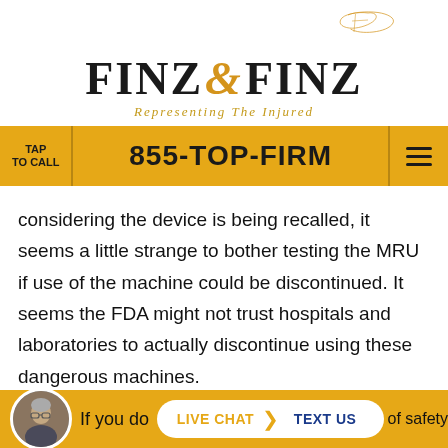[Figure (logo): Finz & Finz law firm logo with golden script F monogram and serif wordmark 'FINZ & FINZ' with tagline 'Representing The Injured']
TAP TO CALL   855-TOP-FIRM   [menu]
considering the device is being recalled, it seems a little strange to bother testing the MRU if use of the machine could be discontinued. It seems the FDA might not trust hospitals and laboratories to actually discontinue using these dangerous machines.
If you do ... of safety
LIVE CHAT  TEXT US